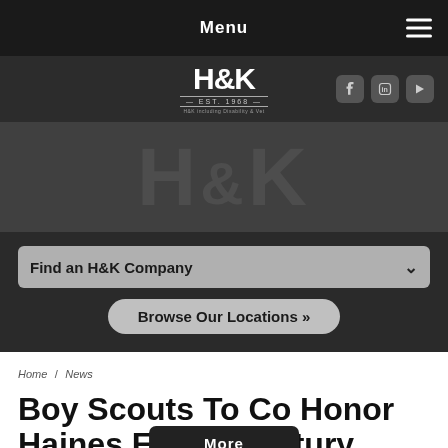Menu
[Figure (logo): H&K logo with EST. 1968 text and social media icons (Facebook, LinkedIn, YouTube)]
[Figure (photo): H&K dark textured hero banner with large H&K ampersand text]
Find an H&K Company
Browse Our Locations »
Home / News
Boy Scouts To Co Honor Haines Ex... Century